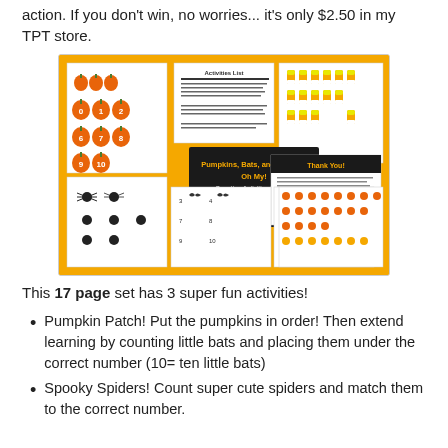action. If you don't win, no worries... it's only $2.50 in my TPT store.
[Figure (photo): Product preview image showing 'Pumpkins, Bats, and Spiders, Oh My! Counting Activities for 0-10' educational activity set with Halloween-themed counting worksheets featuring pumpkins, bats, spiders, and candy corn on an orange and black background.]
This 17 page set has 3 super fun activities!
Pumpkin Patch! Put the pumpkins in order! Then extend learning by counting little bats and placing them under the correct number (10= ten little bats)
Spooky Spiders! Count super cute spiders and match them to the correct number.